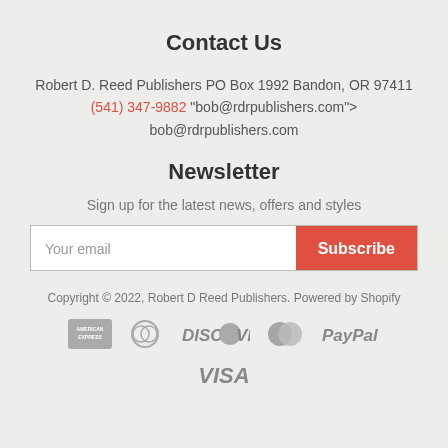Contact Us
Robert D. Reed Publishers PO Box 1992 Bandon, OR 97411 (541) 347-9882 "bob@rdrpublishers.com"> bob@rdrpublishers.com
Newsletter
Sign up for the latest news, offers and styles
Your email  Subscribe
Copyright © 2022, Robert D Reed Publishers. Powered by Shopify
[Figure (logo): Payment method logos: American Express, Diners Club, Discover, MasterCard, PayPal, Visa]